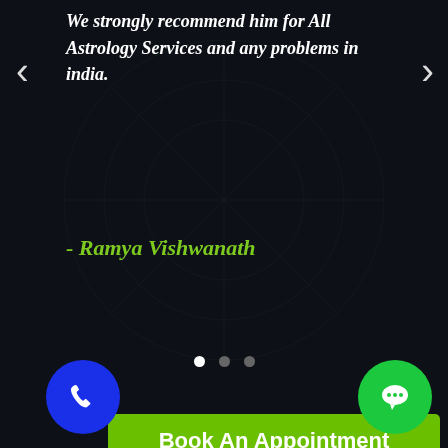We strongly recommend him for All Astrology Services and any problems in india.
- Ramya Vishwanath
[Figure (other): Carousel navigation dots: 3 dots, first one white (active), other two gray]
Book An Appointment
Name
Email Address
Phone Number